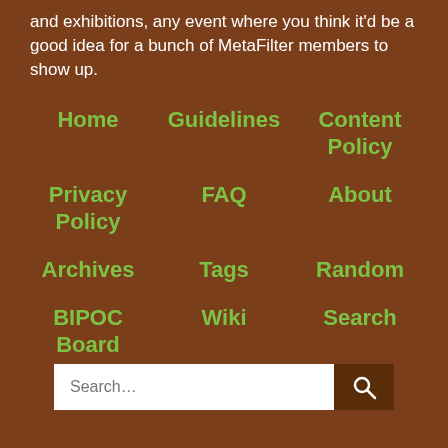and exhibitions, any event where you think it'd be a good idea for a bunch of MetaFilter members to show up.
Home
Guidelines
Content Policy
Privacy Policy
FAQ
About
Archives
Tags
Random
BIPOC Board
Wiki
Search
Chat
Labs